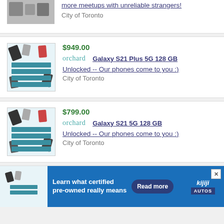more meetups with unreliable strangers!
City of Toronto
$949.00
orchard  Galaxy S21 Plus 5G 128 GB
Unlocked -- Our phones come to you :)
City of Toronto
$799.00
orchard  Galaxy S21 5G 128 GB
Unlocked -- Our phones come to you :)
City of Toronto
[Figure (screenshot): Kijiji Autos advertisement banner: Learn what certified pre-owned really means, with Read more button and Kijiji Autos logo]
Learn what certified pre-owned really means
Read more
kijiji AUTOS